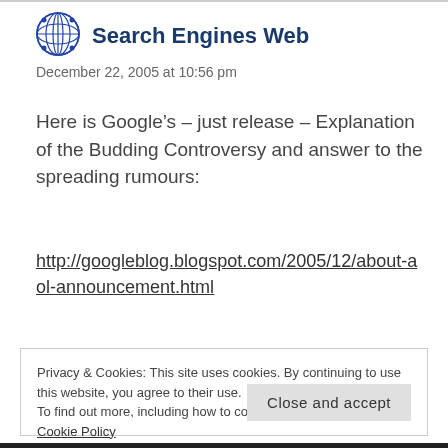[Figure (logo): Search Engines Web site logo — blue circular icon with lattice/globe pattern]
Search Engines Web
December 22, 2005 at 10:56 pm
Here is Google’s – just release – Explanation of the Budding Controversy and answer to the spreading rumours:
http://googleblog.blogspot.com/2005/12/about-aol-announcement.html
Privacy & Cookies: This site uses cookies. By continuing to use this website, you agree to their use.
To find out more, including how to control cookies, see here: Cookie Policy
Close and accept